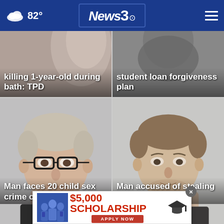☁ 82° | News3 | ≡
[Figure (screenshot): News card: killing 1-year-old during bath: TPD — partial photo of person in background]
killing 1-year-old during bath: TPD
[Figure (screenshot): News card: student loan forgiveness plan — partial dark photo of person]
student loan forgiveness plan
[Figure (photo): Mugshot of middle-aged man with glasses]
Man faces 20 child sex crime charges in An...
[Figure (photo): Mugshot of young man]
Man accused of stealing forklift, d...ing
[Figure (infographic): $5,000 SCHOLARSHIP — APPLY NOW banner ad with image of students]